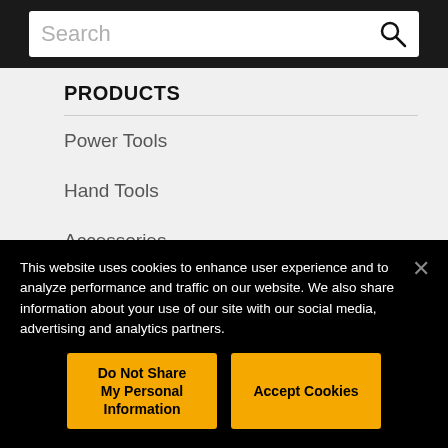[Figure (screenshot): Search bar with magnifying glass icon on dark background]
PRODUCTS
Power Tools
Hand Tools
Accessories
Outdoor
Workspace
This website uses cookies to enhance user experience and to analyze performance and traffic on our website. We also share information about your use of our site with our social media, advertising and analytics partners.
Do Not Share My Personal Information
Accept Cookies